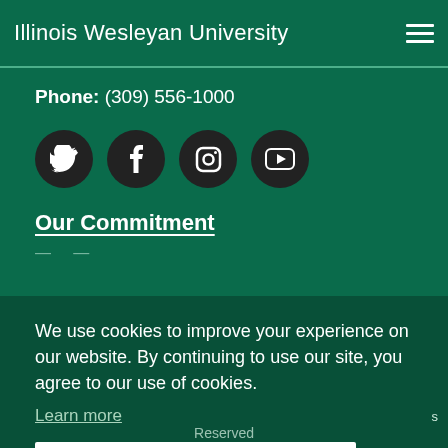Illinois Wesleyan University
Phone: (309) 556-1000
[Figure (illustration): Four social media icon circles: Twitter, Facebook, Instagram, YouTube]
Our Commitment
Privacy Policy (partially visible)
We use cookies to improve your experience on our website. By continuing to use our site, you agree to our use of cookies.
Learn more
Got it!
Reserved (partially visible)